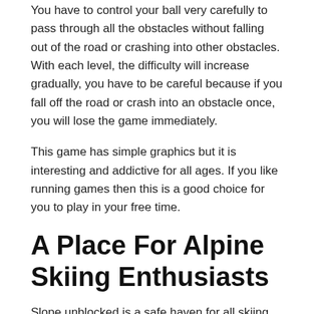You have to control your ball very carefully to pass through all the obstacles without falling out of the road or crashing into other obstacles. With each level, the difficulty will increase gradually, you have to be careful because if you fall off the road or crash into an obstacle once, you will lose the game immediately.
This game has simple graphics but it is interesting and addictive for all ages. If you like running games then this is a good choice for you to play in your free time.
A Place For Alpine Skiing Enthusiasts
Slope unblocked is a safe haven for all skiing enthusiasts. We offer a wide range of quality, long-lasting slope unblocked games that can be played on any device. From our website, you can play the best slope...